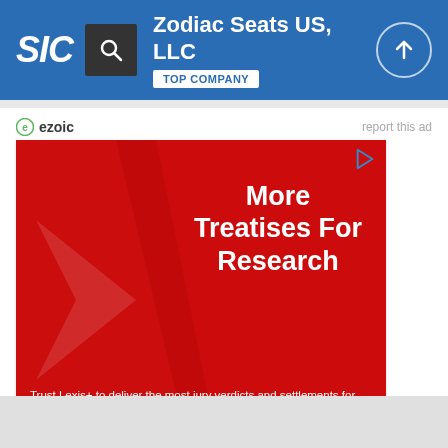SIC | Zodiac Seats US, LLC | TOP COMPANY
ezoic  report this ad
[Figure (other): Red advertisement banner for Lexis+ with text 'More Treatises For Research' and subtext 'Trust Lexis+ to deliver the most jury verdicts and settlements for better outcomes.' with a Learn More button]
ezoic  report this ad